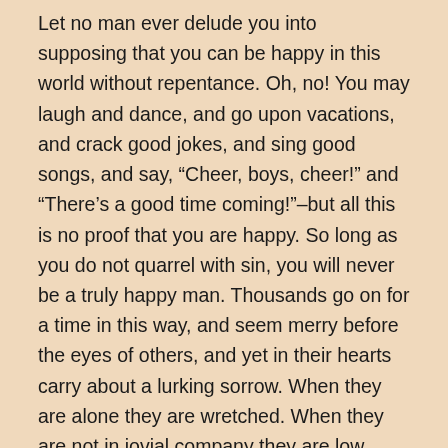Let no man ever delude you into supposing that you can be happy in this world without repentance. Oh, no! You may laugh and dance, and go upon vacations, and crack good jokes, and sing good songs, and say, “Cheer, boys, cheer!” and “There’s a good time coming!”–but all this is no proof that you are happy. So long as you do not quarrel with sin, you will never be a truly happy man. Thousands go on for a time in this way, and seem merry before the eyes of others, and yet in their hearts carry about a lurking sorrow. When they are alone they are wretched. When they are not in jovial company they are low. Conscience makes cowards of them. They do not like being by themselves. They hate quiet thinking. They must constantly have some new excitement. Every year they must have more. Just as an opium-eater needs and more and more and more and more and more and